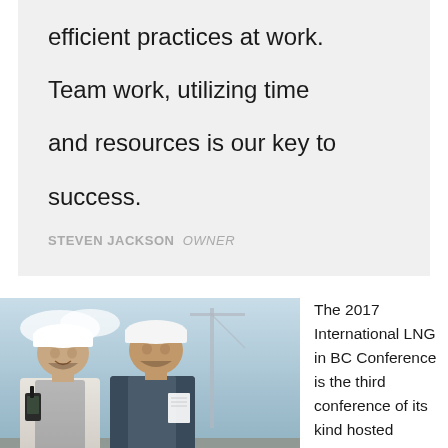efficient practices at work.

Team work, utilizing time and resources is our key to success.
STEVEN JACKSON OWNER
[Figure (photo): Two male engineers/construction workers wearing white hard hats at a construction site. The left worker is talking on a walkie-talkie and smiling. The right worker is holding documents. Construction cranes visible in background.]
The 2017 International LNG in BC Conference is the third conference of its kind hosted